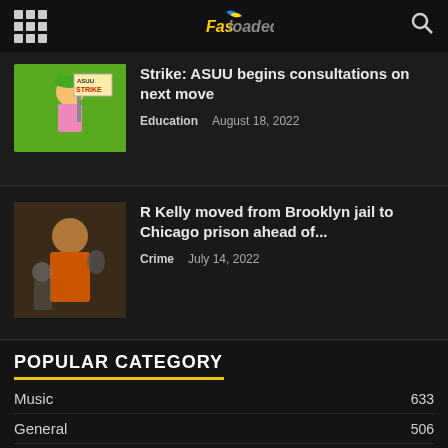Fasloaded
Strike: ASUU begins consultations on next move
Education   August 18, 2022
R Kelly moved from Brooklyn jail to Chicago prison ahead of...
Crime   July 14, 2022
POPULAR CATEGORY
Music   633
General   506
Entertainment   366
Crime   347
Health   228